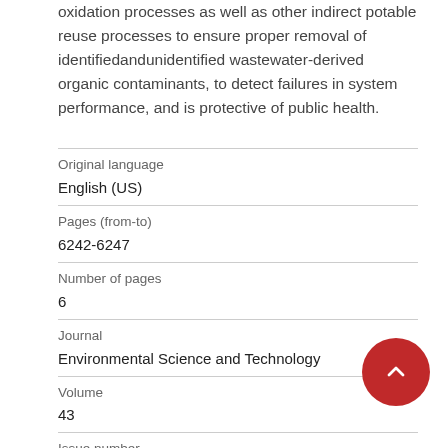oxidation processes as well as other indirect potable reuse processes to ensure proper removal of identifiedandunidentified wastewater-derived organic contaminants, to detect failures in system performance, and is protective of public health.
| Original language | English (US) |
| Pages (from-to) | 6242-6247 |
| Number of pages | 6 |
| Journal | Environmental Science and Technology |
| Volume | 43 |
| Issue number |  |